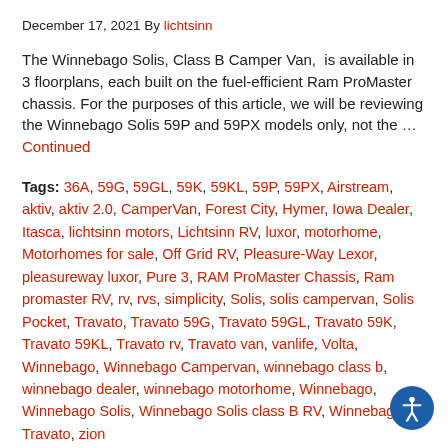December 17, 2021 By lichtsinn
The Winnebago Solis, Class B Camper Van,  is available in 3 floorplans, each built on the fuel-efficient Ram ProMaster chassis. For the purposes of this article, we will be reviewing the Winnebago Solis 59P and 59PX models only, not the … Continued
Tags: 36A, 59G, 59GL, 59K, 59KL, 59P, 59PX, Airstream, aktiv, aktiv 2.0, CamperVan, Forest City, Hymer, Iowa Dealer, Itasca, lichtsinn motors, Lichtsinn RV, luxor, motorhome, Motorhomes for sale, Off Grid RV, Pleasure-Way Lexor, pleasureway luxor, Pure 3, RAM ProMaster Chassis, Ram promaster RV, rv, rvs, simplicity, Solis, solis campervan, Solis Pocket, Travato, Travato 59G, Travato 59GL, Travato 59K, Travato 59KL, Travato rv, Travato van, vanlife, Volta, Winnebago, Winnebago Campervan, winnebago class b, winnebago dealer, winnebago motorhome, Winnebago, Winnebago Solis, Winnebago Solis class B RV, Winnebago Travato, zion